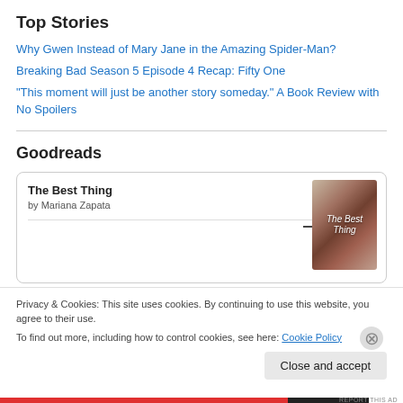Top Stories
Why Gwen Instead of Mary Jane in the Amazing Spider-Man?
Breaking Bad Season 5 Episode 4 Recap: Fifty One
“This moment will just be another story someday.” A Book Review with No Spoilers
Goodreads
The Best Thing
by Mariana Zapata
Privacy & Cookies: This site uses cookies. By continuing to use this website, you agree to their use.
To find out more, including how to control cookies, see here: Cookie Policy
Close and accept